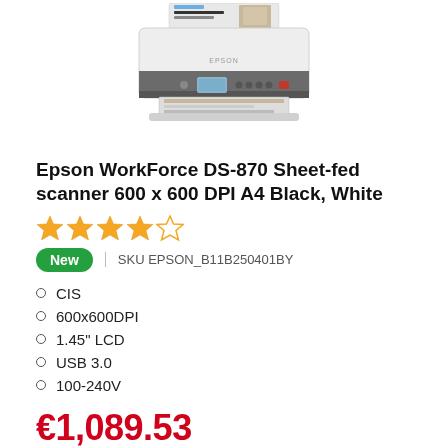[Figure (photo): Epson WorkForce DS-870 sheet-fed scanner, white with dark front panel, shown with paper feeding through it]
Epson WorkForce DS-870 Sheet-fed scanner 600 x 600 DPI A4 Black, White
[Figure (other): 4 out of 5 stars rating shown with gold star icons]
New | SKU EPSON_B11B250401BY
CIS
600x600DPI
1.45" LCD
USB 3.0
100-240V
€1,089.53